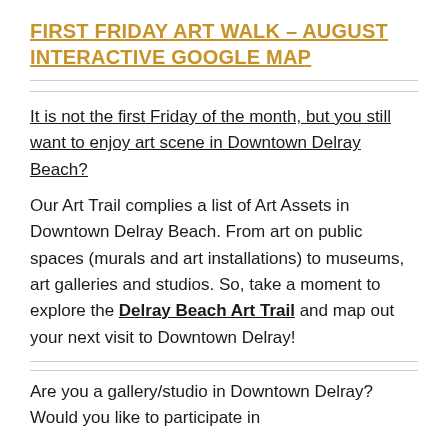FIRST FRIDAY ART WALK – AUGUST INTERACTIVE GOOGLE MAP
It is not the first Friday of the month, but you still want to enjoy art scene in Downtown Delray Beach?
Our Art Trail complies a list of Art Assets in Downtown Delray Beach. From art on public spaces (murals and art installations) to museums, art galleries and studios. So, take a moment to explore the Delray Beach Art Trail and map out your next visit to Downtown Delray!
Are you a gallery/studio in Downtown Delray? Would you like to participate in